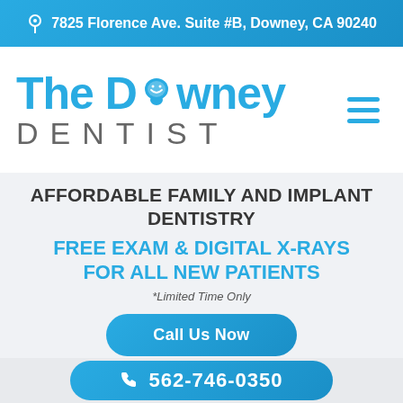7825 Florence Ave. Suite #B, Downey, CA 90240
[Figure (logo): The Downey Dentist logo with tooth icon in blue text and 'DENTIST' in gray spaced letters, with hamburger menu icon]
AFFORDABLE FAMILY AND IMPLANT DENTISTRY
FREE EXAM & DIGITAL X-RAYS FOR ALL NEW PATIENTS
*Limited Time Only
Call Us Now
562-746-0350